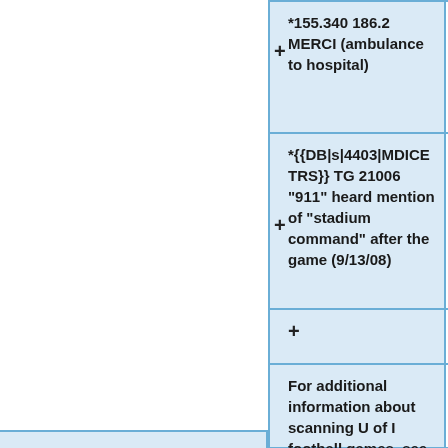*155.340 186.2 MERCI (ambulance to hospital)
*{{DB|s|4403|MDICE TRS}} TG 21006 "911" heard mention of "stadium command" after the game (9/13/08)
For additional information about scanning U of I football games, see this {{Thread|illinois-radio-discussion-forum|47791-fighting-illini-football-u-i-memorial-stadium-frequencies.html|Forum}} <br/>